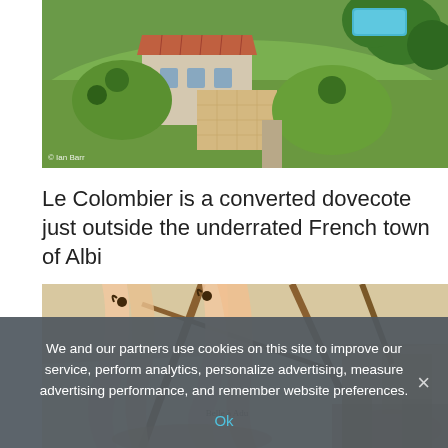[Figure (photo): Aerial view of Le Colombier property with tiled roof building, courtyard, swimming pool and surrounding green lawn and trees]
Le Colombier is a converted dovecote just outside the underrated French town of Albi
[Figure (photo): Interior of Le Colombier showing romantic bedroom with draped fabric canopy, exposed wooden beams, warm lighting]
We and our partners use cookies on this site to improve our service, perform analytics, personalize advertising, measure advertising performance, and remember website preferences.
Ok